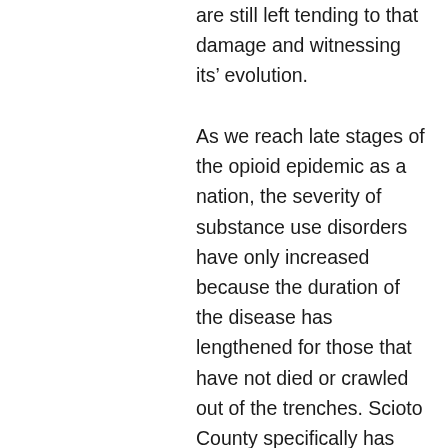are still left tending to that damage and witnessing its' evolution. As we reach late stages of the opioid epidemic as a nation, the severity of substance use disorders have only increased because the duration of the disease has lengthened for those that have not died or crawled out of the trenches. Scioto County specifically has been assigned as a “distressed county” per the Appalachia Regional Commission